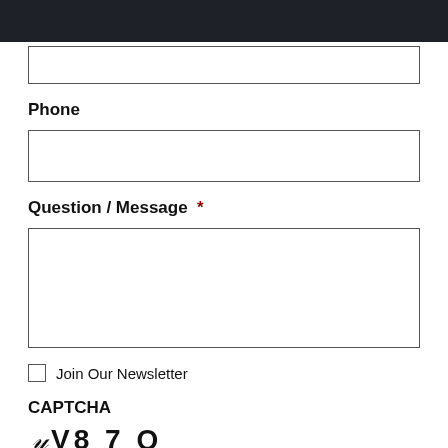(input box - top, partially visible)
Phone
(phone input box)
Question / Message *
(message textarea)
Join Our Newsletter
CAPTCHA
YV8 7 Q
(captcha input box)